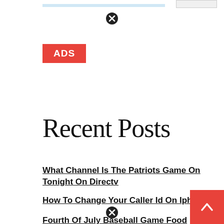[Figure (other): Red ADS badge/label in top left area]
Recent Posts
What Channel Is The Patriots Game On Tonight On Directv
How To Change Your Caller Id On Iphone 7
Fourth Of July Baseball Game Food
What Channel Is The Islanders Game On Tonight On Optimum